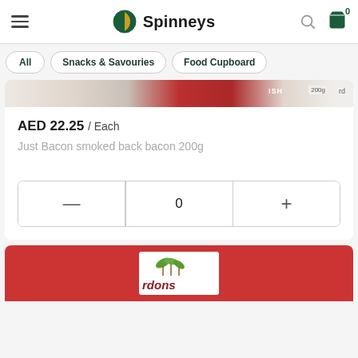[Figure (screenshot): Spinneys grocery app header with hamburger menu, Spinneys logo, search icon, and cart icon showing 0 items]
All
Snacks & Savouries
Food Cupboard
[Figure (photo): Just Bacon smoked back bacon 200g product packaging image, partially visible]
AED 22.25 / Each
Just Bacon smoked back bacon 200g
[Figure (screenshot): Quantity selector showing minus button, 0, and plus button]
[Figure (photo): Second product image partially visible at bottom, red packaging with white label and green herb garnish, showing text 'rdons']